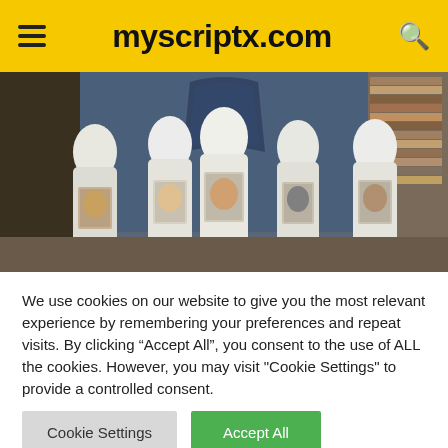myscriptx.com
[Figure (photo): Five people dressed in white hooded garments standing in a row inside a church or hall, each holding up a printed photograph/poster of a person. A stained glass window is visible in the background.]
We use cookies on our website to give you the most relevant experience by remembering your preferences and repeat visits. By clicking “Accept All”, you consent to the use of ALL the cookies. However, you may visit "Cookie Settings" to provide a controlled consent.
Cookie Settings   Accept All